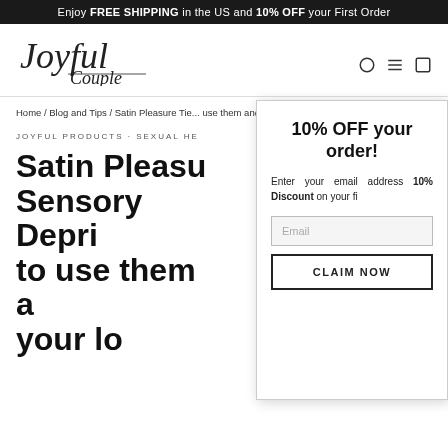Enjoy FREE SHIPPING in the US and 10% OFF your First Order
[Figure (logo): Joyful Couple handwritten script logo]
Home / Blog and Tips / Satin Pleasure Tie... use them and spice up your love life
JOYFUL PRODUCTS · SEXUAL HE... 2022
Satin Pleasure Sensory Depriv... to use them a... your lo...
10% OFF your order!
Enter your email address... 10% Discount on your fi...
Email
CLAIM NOW